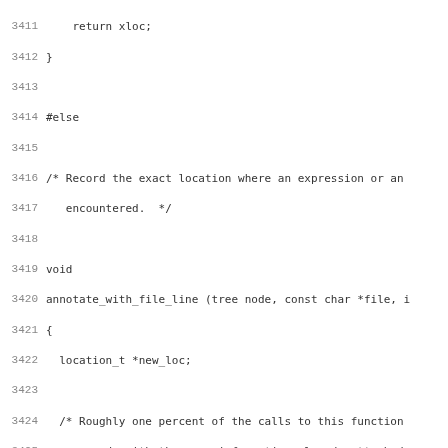[Figure (other): Source code listing in C, lines 3411-3442, showing functions including annotate_with_file_line and associated comments and logic]